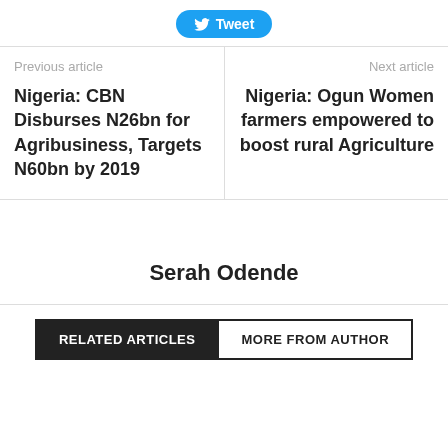[Figure (other): Twitter Tweet button with bird icon]
Previous article
Nigeria: CBN Disburses N26bn for Agribusiness, Targets N60bn by 2019
Next article
Nigeria: Ogun Women farmers empowered to boost rural Agriculture
Serah Odende
RELATED ARTICLES
MORE FROM AUTHOR